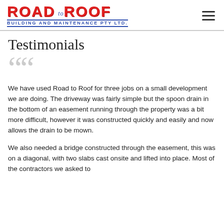[Figure (logo): Road to Roof Building and Maintenance Pty Ltd logo in red and blue]
Testimonials
We have used Road to Roof for three jobs on a small development we are doing. The driveway was fairly simple but the spoon drain in the bottom of an easement running through the property was a bit more difficult, however it was constructed quickly and easily and now allows the drain to be mown.
We also needed a bridge constructed through the easement, this was on a diagonal, with two slabs cast onsite and lifted into place. Most of the contractors we asked to